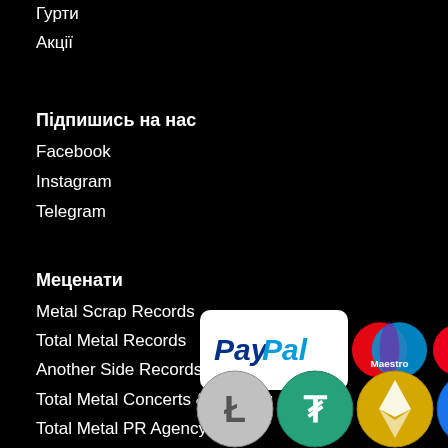Гурти
Акції
Підпишись на нас
Facebook
Instagram
Telegram
Меценати
Metal Scrap Records
Total Metal Records
Another Side Records
Total Metal Concerts & Booking
Total Metal PR Agency
Total Metal Distribution
[Figure (logo): Payment method logos: PayPal, Maestro, MasterCard, and other payment/crypto icons]